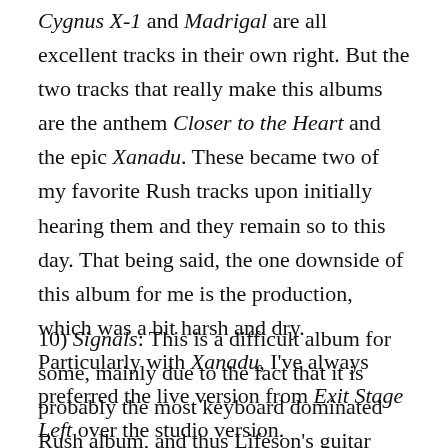Cygnus X-1 and Madrigal are all excellent tracks in their own right. But the two tracks that really make this albums are the anthem Closer to the Heart and the epic Xanadu. These became two of my favorite Rush tracks upon initially hearing them and they remain so to this day. That being said, the one downside of this album for me is the production, which was a bit harsh and dry. Particularly with Xanadu, I've always preferred the live version from Exit Stage Left over the studio version.
10) Signals: This is a difficult album for some, mainly due to the fact that it is probably the most keyboard dominated Rush album, and thus Lifeson's guitar often gets lost in the mix. That's still not enough to knock it out of my top 10, as the songs are still just too good.